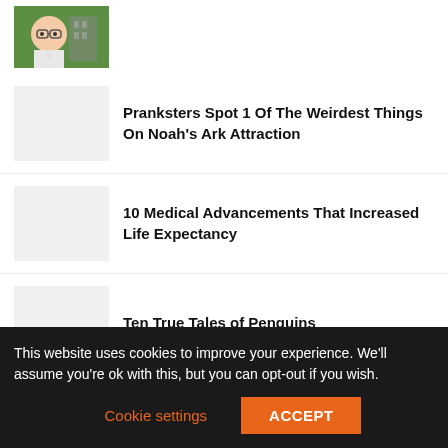[Figure (photo): Partial thumbnail image at top, cartoon-style character with glasses]
Pranksters Spot 1 Of The Weirdest Things On Noah's Ark Attraction
10 Medical Advancements That Increased Life Expectancy
Ten True Tales of Penguins
Joe Jonas Reveals He Uses Injectables: 'We Can Be Open And Honest About It'
This website uses cookies to improve your experience. We'll assume you're ok with this, but you can opt-out if you wish.
Cookie settings  ACCEPT